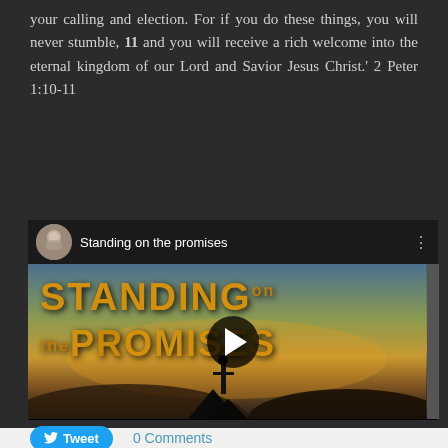your calling and election. For if you do these things, you will never stumble, 11 and you will receive a rich welcome into the eternal kingdom of our Lord and Savior Jesus Christ.' 2 Peter 1:10-11
[Figure (screenshot): Embedded video player showing 'Standing on the promises' - a YouTube-style video thumbnail with golden text 'STANDING on the PROMISES' over a sunset landscape with silhouette figure. Has play button overlay, avatar icon of a bearded man, and three-dot menu.]
Tweet
0 Comments